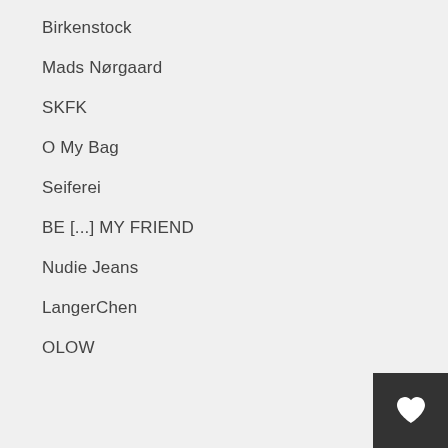Birkenstock
Mads Nørgaard
SKFK
O My Bag
Seiferei
BE [...] MY FRIEND
Nudie Jeans
LangerChen
OLOW